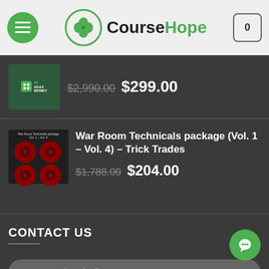CourseHope
Intro To Short Selling – Madaz Money
$2,990.00  $299.00
War Room Technicals package (Vol. 1 – Vol. 4) – Trick Trades
$1,788.00  $204.00
CONTACT US
Your Name (required)
Your Email (required)
Your Message (required)